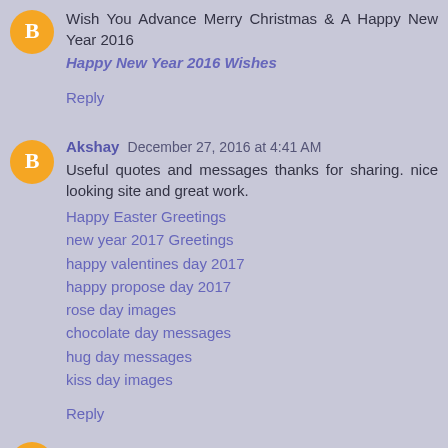Wish You Advance Merry Christmas & A Happy New Year 2016
Happy New Year 2016 Wishes
Reply
Akshay December 27, 2016 at 4:41 AM
Useful quotes and messages thanks for sharing. nice looking site and great work.
Happy Easter Greetings
new year 2017 Greetings
happy valentines day 2017
happy propose day 2017
rose day images
chocolate day messages
hug day messages
kiss day images
Reply
Dreeeeeeinda April 3, 2017 at 4:40 AM